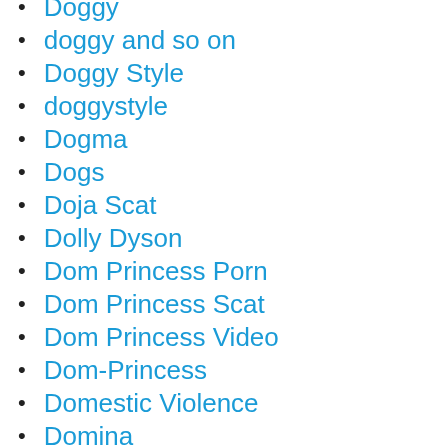Doggy
doggy and so on
Doggy Style
doggystyle
Dogma
Dogs
Doja Scat
Dolly Dyson
Dom Princess Porn
Dom Princess Scat
Dom Princess Video
Dom-Princess
Domestic Violence
Domina
Domina Kate
Domina Victoria